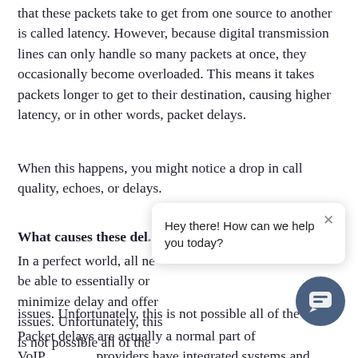that these packets take to get from one source to another is called latency. However, because digital transmission lines can only handle so many packets at once, they occasionally become overloaded. This means it takes packets longer to get to their destination, causing higher latency, or in other words, packet delays.
When this happens, you might notice a drop in call quality, echoes, or delays.
What causes these del...
In a perfect world, all ne... be able to essentially or... minimize delay and offer... issues. Unfortunately, this is not possible all of the time.
Packet delays are actually a normal part of VoIP, providers have integrated systems and buffers to
[Figure (other): Chat popup widget: 'Hey there! How can we help you today?' with a close button (×), and a circular dark blue chat button in the bottom right corner.]